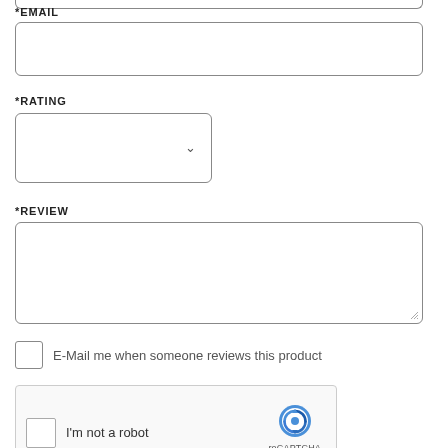*EMAIL
[Figure (screenshot): Empty email input text field with rounded border]
*RATING
[Figure (screenshot): Rating dropdown select box with chevron arrow]
*REVIEW
[Figure (screenshot): Empty review textarea with rounded border]
E-Mail me when someone reviews this product
[Figure (screenshot): reCAPTCHA widget with checkbox, I'm not a robot text, reCAPTCHA logo, Privacy and Terms links]